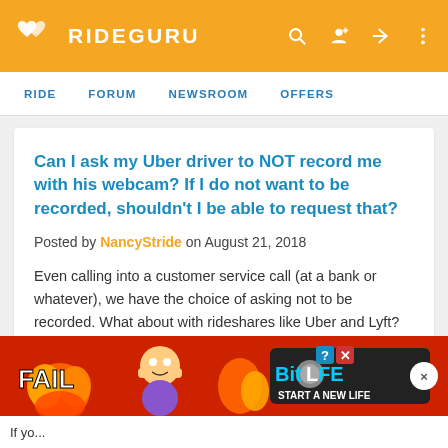RIDEGURU
RIDE  FORUM  NEWSROOM  OFFERS
Can I ask my Uber driver to NOT record me with his webcam? If I do not want to be recorded, shouldn't I be able to request that?
Posted by NancyStride on August 21, 2018
Even calling into a customer service call (at a bank or whatever), we have the choice of asking not to be recorded. What about with rideshares like Uber and Lyft?
I understand that the car is a private property, and drivers have the rights to record inside their cabin.  However, …
[Figure (screenshot): BitLife advertisement banner at the bottom of the page showing 'FAIL' text, cartoon character, flames, and 'START A NEW LIFE' text with BitLife logo]